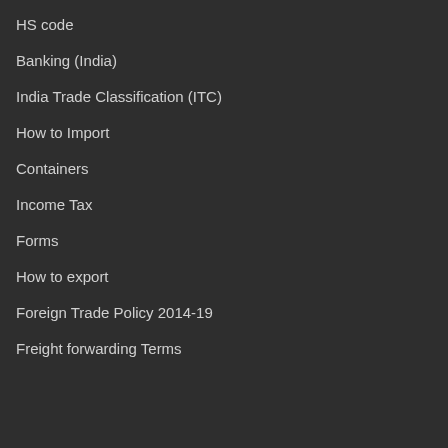HS code
Banking (India)
India Trade Classification (ITC)
How to Import
Containers
Income Tax
Forms
How to export
Foreign Trade Policy 2014-19
Freight forwarding Terms